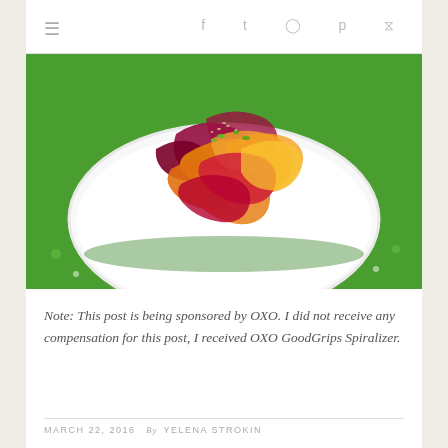≡   f  t  @  p  RSS
[Figure (photo): A colorful plate of spiralized vegetable noodles (beet, carrot, zucchini) garnished with sesame seeds and green onions, served on a white plate on a green floral tablecloth.]
Note: This post is being sponsored by OXO. I did not receive any compensation for this post, I received OXO GoodGrips Spiralizer.
MARCH 22, 2016  By YELENA STROKIN